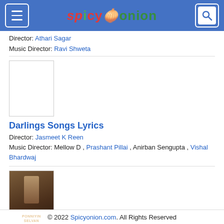spicyonion
Director: Athari Sagar
Music Director: Ravi Shweta
[Figure (photo): Blank white movie thumbnail placeholder]
Darlings Songs Lyrics
Director: Jasmeet K Reen
Music Director: Mellow D , Prashant Pillai , Anirban Sengupta , Vishal Bhardwaj
[Figure (photo): Ponniyin Selvan movie poster thumbnail - dark brown tones with figure]
Ponniyin Selvan Songs Lyrics
Director: Mani Ratnam
Music Director: A. R. Rahman , A. R. Rahman
© 2022 Spicyonion.com. All Rights Reserved